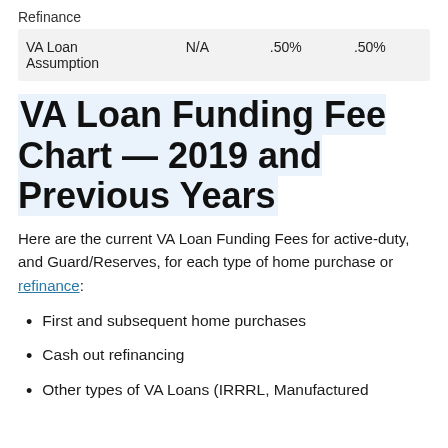Refinance
| VA Loan Assumption | N/A | .50% | .50% |
VA Loan Funding Fee Chart — 2019 and Previous Years
Here are the current VA Loan Funding Fees for active-duty, and Guard/Reserves, for each type of home purchase or refinance:
First and subsequent home purchases
Cash out refinancing
Other types of VA Loans (IRRRL, Manufactured